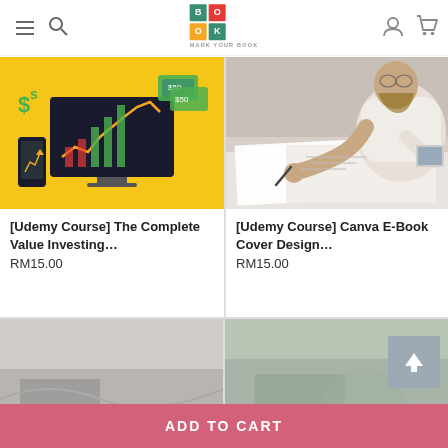MARK YOUR BOOK — navigation header with hamburger menu, search, logo, user and cart icons
[Figure (screenshot): Product card image: yellow background with a computer monitor showing a stock chart with upward trend, dollar signs ($S), and hand holding phone — representing a value investing course]
[Udemy Course] The Complete Value Investing…
RM15.00
[Figure (photo): Product card image: person in white t-shirt drawing/sketching on paper at a desk, representing an e-book cover design course]
[Udemy Course] Canva E-Book Cover Design…
RM15.00
[Figure (screenshot): Partially visible bottom-left product card image, partially cut off by Add to Cart bar]
[Figure (screenshot): Partially visible bottom-right product card image, partially cut off by Add to Cart bar]
ADD TO CART